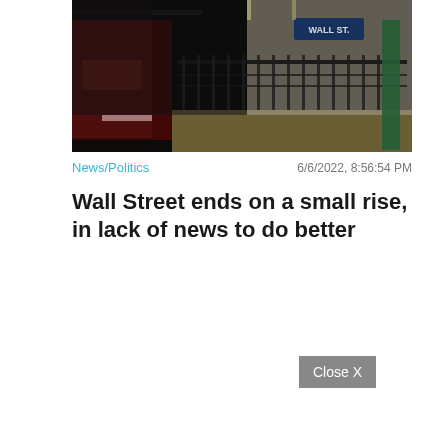[Figure (photo): Dark photo of a subway station platform at night showing a Wall St. sign on the wall, iron fence, green pillars, and a blurred red subway train passing through.]
News/Politics
6/6/2022, 8:56:54 PM
Wall Street ends on a small rise, in lack of news to do better
Close X